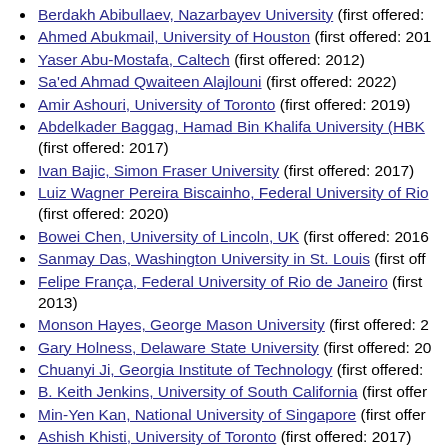Berdakh Abibullaev, Nazarbayev University (first offered:
Ahmed Abukmail, University of Houston (first offered: 201…)
Yaser Abu-Mostafa, Caltech (first offered: 2012)
Sa'ed Ahmad Qwaiteen Alajlouni (first offered: 2022)
Amir Ashouri, University of Toronto (first offered: 2019)
Abdelkader Baggag, Hamad Bin Khalifa University (HBK… (first offered: 2017)
Ivan Bajic, Simon Fraser University (first offered: 2017)
Luiz Wagner Pereira Biscainho, Federal University of Rio… (first offered: 2020)
Bowei Chen, University of Lincoln, UK (first offered: 2016…)
Sanmay Das, Washington University in St. Louis (first off…)
Felipe França, Federal University of Rio de Janeiro (first… 2013)
Monson Hayes, George Mason University (first offered: 2…)
Gary Holness, Delaware State University (first offered: 20…)
Chuanyi Ji, Georgia Institute of Technology (first offered:…)
B. Keith Jenkins, University of South California (first offer…)
Min-Yen Kan, National University of Singapore (first offer…)
Ashish Khisti, University of Toronto (first offered: 2017)
Anthony Kuh, University of Hawaii at Manoa (first offered…)